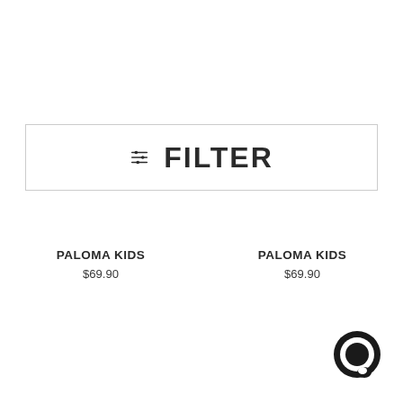[Figure (screenshot): Filter button bar with filter icon and bold FILTER text inside a rectangular border]
PALOMA KIDS
$69.90
PALOMA KIDS
$69.90
[Figure (logo): Black circular chat bubble icon in bottom right corner]